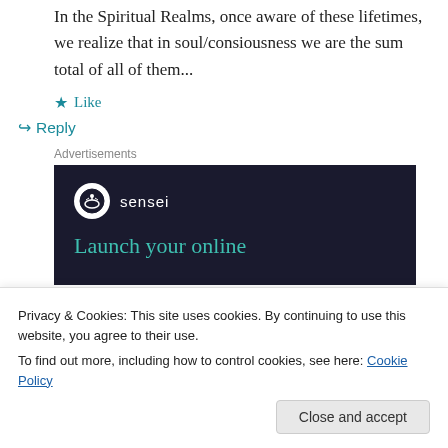In the Spiritual Realms, once aware of these lifetimes, we realize that in soul/consiousness we are the sum total of all of them...
★ Like
↪ Reply
Advertisements
[Figure (other): Sensei advertisement banner with dark background showing logo and text 'Launch your online']
Privacy & Cookies: This site uses cookies. By continuing to use this website, you agree to their use.
To find out more, including how to control cookies, see here: Cookie Policy
Close and accept